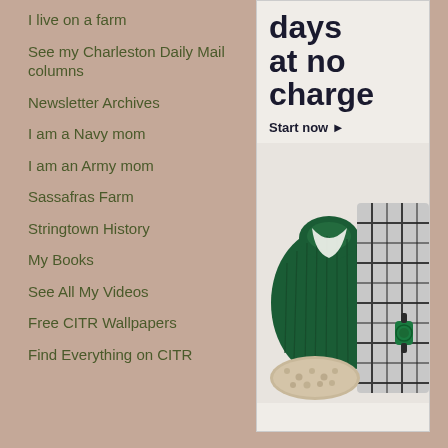I live on a farm
See my Charleston Daily Mail columns
Newsletter Archives
I am a Navy mom
I am an Army mom
Sassafras Farm
Stringtown History
My Books
See All My Videos
Free CITR Wallpapers
Find Everything on CITR
[Figure (infographic): Advertisement showing text 'days at no charge Start now' with an arrow, and a photo of folded green turtleneck sweater, plaid shirt, snakeskin bag, and green watch on a light background]